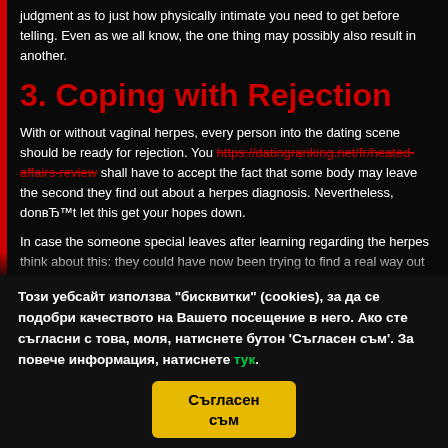judgment as to just how physically intimate you need to get before telling. Even as we all know, the one thing may possibly also result in another.
3. Coping with Rejection
With or without vaginal herpes, every person into the dating scene should be ready for rejection. You https://datingranking.net/fr/heated-affairs-review shall have to accept the fact that some body may leave the second they find out about a herpes diagnosis. Nevertheless, donвЂ™t let this get your hopes down.
In case the someone special leaves after learning regarding the herpes think about this: they could have now been trying to find a real way out
Този уебсайт използва "бисквитки" (cookies), за да се подобри качеството на Вашето посещение в него. Ако сте съгласни с това, моля, натиснете бутон 'Съгласен съм'. За повече информация, натиснете тук.